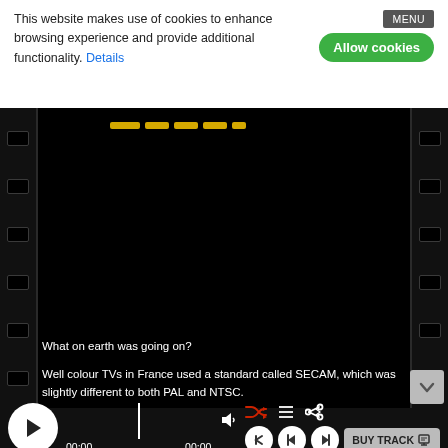This website makes use of cookies to enhance browsing experience and provide additional functionality. Details
[Figure (screenshot): Video player screen showing a dark/black video frame with yellow marks near top and film strip borders on left and right sides. Subtitles visible at bottom.]
What on earth was going on?
Well colour TVs in France used a standard called SECAM, which was slightly different to both PAL and NTSC.
[Figure (screenshot): Audio/video player controls bar with play button, progress bar, timestamps 00:00 and 00:00, shuffle icon, list icon, share icon, volume icon, back/skip buttons, and BUY TRACK button]